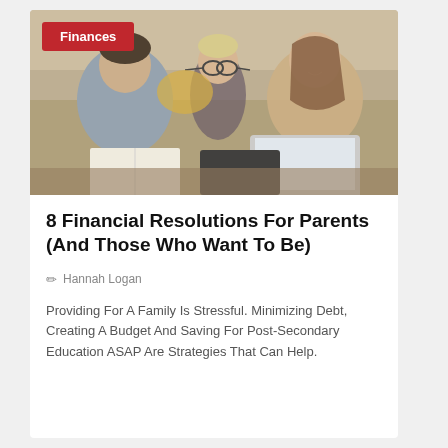[Figure (photo): A family of three — a father, a toddler with round glasses, and a mother — sitting together on a couch with a laptop, calculator, and open book on the table in front of them. A red 'Finances' tag is overlaid on the top-left of the image.]
8 Financial Resolutions For Parents (And Those Who Want To Be)
✏ Hannah Logan
Providing For A Family Is Stressful. Minimizing Debt, Creating A Budget And Saving For Post-Secondary Education ASAP Are Strategies That Can Help.